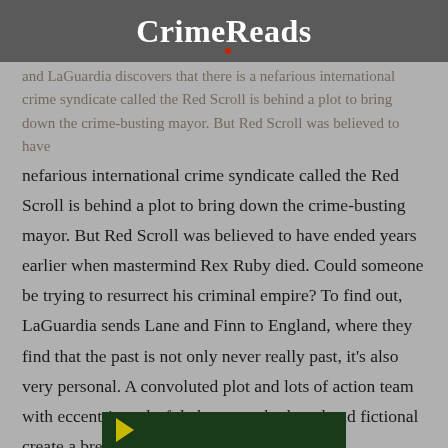CrimeReads
and LaGuardia discovers that there is a nefarious international crime syndicate called the Red Scroll is behind a plot to bring down the crime-busting mayor. But Red Scroll was believed to have ended years earlier when mastermind Rex Ruby died. Could someone be trying to resurrect his criminal empire? To find out, LaGuardia sends Lane and Finn to England, where they find that the past is not only never really past, it’s also very personal. A convoluted plot and lots of action team with eccentric, colorful characters both real and fictional create a breathless ride.
[Figure (photo): Bottom partial image showing a dark green background with a yellow arrow/chevron shape, appears to be a book cover partially visible at the bottom of the page.]